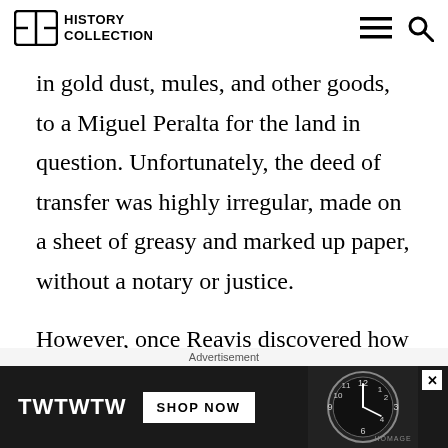HISTORY COLLECTION
in gold dust, mules, and other goods, to a Miguel Peralta for the land in question. Unfortunately, the deed of transfer was highly irregular, made on a sheet of greasy and marked up paper, without a notary or justice.
However, once Reavis discovered how easy it was to get the Public Lands Commission to approve a claim, he set to falsify his right...
Advertisement
[Figure (other): Advertisement banner: TWTWTW SHOP NOW with watch image on dark background]